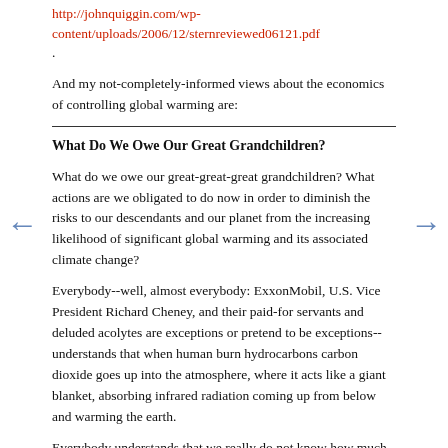http://johnquiggin.com/wp-content/uploads/2006/12/sternreviewed06121.pdf.
And my not-completely-informed views about the economics of controlling global warming are:
What Do We Owe Our Great Grandchildren?
What do we owe our great-great-great grandchildren? What actions are we obligated to do now in order to diminish the risks to our descendants and our planet from the increasing likelihood of significant global warming and its associated climate change?
Everybody--well, almost everybody: ExxonMobil, U.S. Vice President Richard Cheney, and their paid-for servants and deluded acolytes are exceptions or pretend to be exceptions--understands that when human burn hydrocarbons carbon dioxide goes up into the atmosphere, where it acts like a giant blanket, absorbing infrared radiation coming up from below and warming the earth.
Everybody understands that we really do not know how much global warming a given amount of extra carbon dioxide produces. We have models, we have forecasts, we have projections, but global warming might be a much smaller and might be a much larger problem than the central-case projections of climate models suggest. Everybody--well, almost everybody: ExxonMobil, U.S. Vice President Richard Cheney, and their paid-for